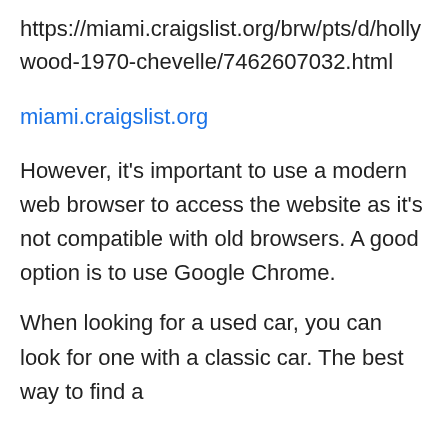https://miami.craigslist.org/brw/pts/d/hollywood-1970-chevelle/7462607032.html
miami.craigslist.org
However, it's important to use a modern web browser to access the website as it's not compatible with old browsers. A good option is to use Google Chrome.
When looking for a used car, you can look for one with a classic car. The best way to find a